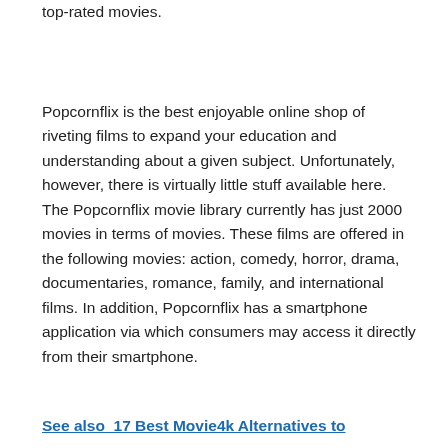top-rated movies.
Popcornflix is the best enjoyable online shop of riveting films to expand your education and understanding about a given subject. Unfortunately, however, there is virtually little stuff available here. The Popcornflix movie library currently has just 2000 movies in terms of movies. These films are offered in the following movies: action, comedy, horror, drama, documentaries, romance, family, and international films. In addition, Popcornflix has a smartphone application via which consumers may access it directly from their smartphone.
See also  17 Best Movie4k Alternatives to